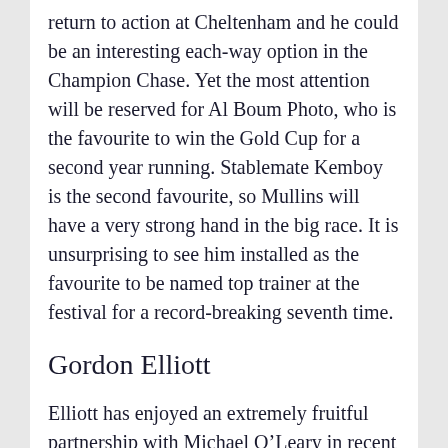return to action at Cheltenham and he could be an interesting each-way option in the Champion Chase. Yet the most attention will be reserved for Al Boum Photo, who is the favourite to win the Gold Cup for a second year running. Stablemate Kemboy is the second favourite, so Mullins will have a very strong hand in the big race. It is unsurprising to see him installed as the favourite to be named top trainer at the festival for a record-breaking seventh time.
Gordon Elliott
Elliott has enjoyed an extremely fruitful partnership with Michael O’Leary in recent years, saddling several winners for the Ryanair boss at the Cheltenham Festival. That will all